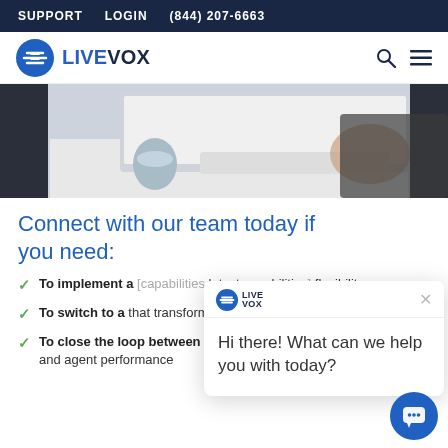SUPPORT   LOGIN   (844) 207-6663
[Figure (logo): LiveVox logo with blue circle icon and LIVEVOX text]
[Figure (photo): Person working at a desk with a computer monitor, keyboard, coffee cup]
Connect with our team today if you need:
To implement a [partially obscured] latest capabilities [partially obscured] flexibility.
To switch to a [partially obscured] that transforms the agent and customer experience.
To close the loop between 100% auditing, quality management, and agent performance [continues]
[Figure (screenshot): LiveVox chat popup with message: Hi there! What can we help you with today?]